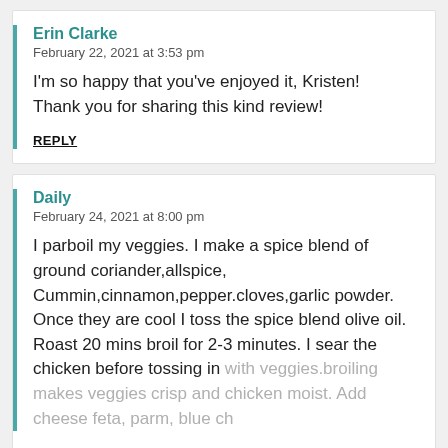Erin Clarke
February 22, 2021 at 3:53 pm
I'm so happy that you've enjoyed it, Kristen! Thank you for sharing this kind review!
REPLY
Daily
February 24, 2021 at 8:00 pm
I parboil my veggies. I make a spice blend of ground coriander,allspice, Cummin,cinnamon,pepper.cloves,garlic powder. Once they are cool I toss the spice blend olive oil. Roast 20 mins broil for 2-3 minutes. I sear the chicken before tossing in with veggies.broiling makes veggies crisp and chicken moist. Add cheese feta, parm, blue ch